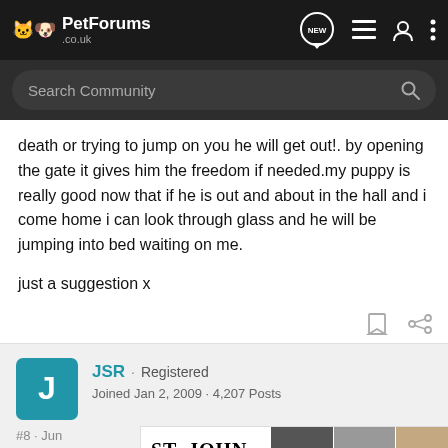PetForums .co.uk
death or trying to jump on you he will get out!. by opening the gate it gives him the freedom if needed.my puppy is really good now that if he is out and about in the hall and i come home i can look through glass and he will be jumping into bed waiting on me.

just a suggestion x
JSR · Registered
Joined Jan 2, 2009 · 4,207 Posts
#8 · Jun
[Figure (screenshot): ST. JOHN advertisement banner with fashion images labeled Zebra, Stret.., Str]